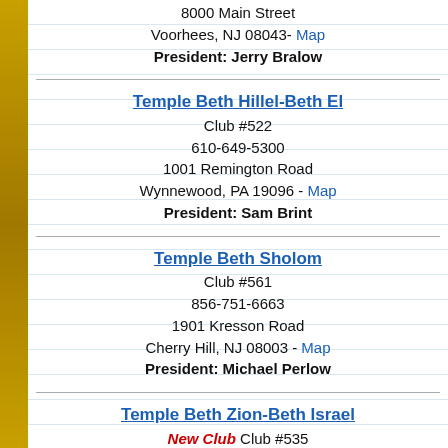8000 Main Street
Voorhees, NJ 08043- Map
President: Jerry Bralow
Temple Beth Hillel-Beth El
Club #522
610-649-5300
1001 Remington Road
Wynnewood, PA 19096 - Map
President: Sam Brint
Temple Beth Sholom
Club #561
856-751-6663
1901 Kresson Road
Cherry Hill, NJ 08003 - Map
President: Michael Perlow
Temple Beth Zion-Beth Israel
New Club Club #535